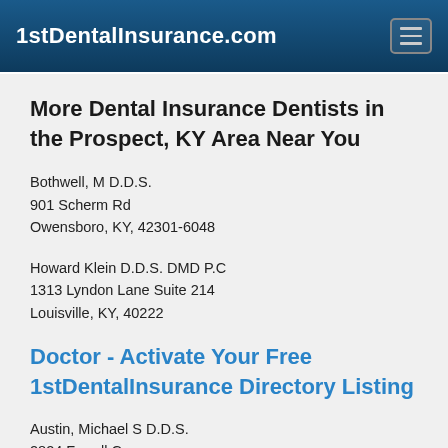1stDentalInsurance.com
More Dental Insurance Dentists in the Prospect, KY Area Near You
Bothwell, M D.D.S.
901 Scherm Rd
Owensboro, KY, 42301-6048
Howard Klein D.D.S. DMD P.C
1313 Lyndon Lane Suite 214
Louisville, KY, 40222
Doctor - Activate Your Free 1stDentalInsurance Directory Listing
Austin, Michael S D.D.S.
2824 Farrell Cres
Owensboro, KY, 42303-1391
Christopher Leneave D.D.S. DMD P.C